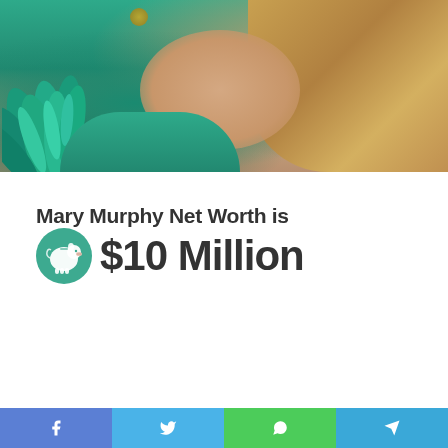[Figure (photo): Photo of Mary Murphy wearing a teal/green feathered outfit with gold jewelry and blonde hair]
Mary Murphy Net Worth is
$10 Million
f  [Twitter bird icon]  [WhatsApp icon]  [Telegram icon]